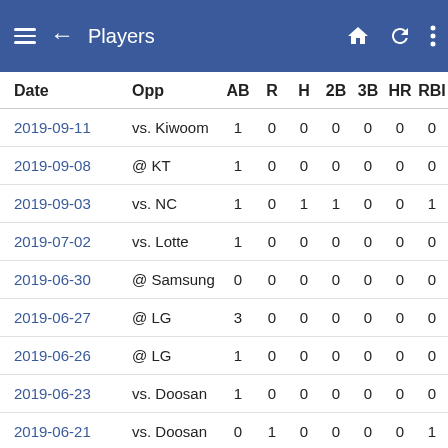Players
| Date | Opp | AB | R | H | 2B | 3B | HR | RBI |
| --- | --- | --- | --- | --- | --- | --- | --- | --- |
| 2019-09-11 | vs. Kiwoom | 1 | 0 | 0 | 0 | 0 | 0 | 0 |
| 2019-09-08 | @ KT | 1 | 0 | 0 | 0 | 0 | 0 | 0 |
| 2019-09-03 | vs. NC | 1 | 0 | 1 | 1 | 0 | 0 | 1 |
| 2019-07-02 | vs. Lotte | 1 | 0 | 0 | 0 | 0 | 0 | 0 |
| 2019-06-30 | @ Samsung | 0 | 0 | 0 | 0 | 0 | 0 | 0 |
| 2019-06-27 | @ LG | 3 | 0 | 0 | 0 | 0 | 0 | 0 |
| 2019-06-26 | @ LG | 1 | 0 | 0 | 0 | 0 | 0 | 0 |
| 2019-06-23 | vs. Doosan | 1 | 0 | 0 | 0 | 0 | 0 | 0 |
| 2019-06-21 | vs. Doosan | 0 | 1 | 0 | 0 | 0 | 0 | 1 |
| 2019-06-20 | @ Kia | 3 | 0 | 0 | 0 | 0 | 0 | 0 |
| 2019-06-18 | @ Kia | 1 | 0 | 0 | 0 | 0 | 0 | 0 |
| 2019-06-16 | vs. NC | 0 | 0 | 0 | 0 | 0 | 0 | 1 |